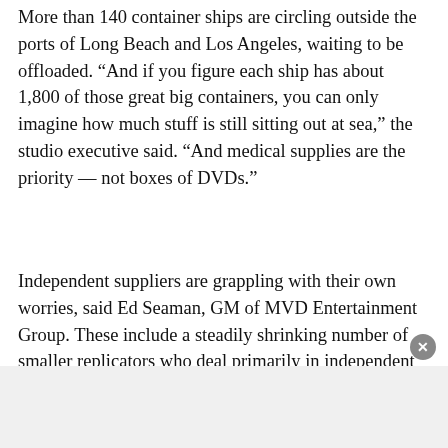More than 140 container ships are circling outside the ports of Long Beach and Los Angeles, waiting to be offloaded. “And if you figure each ship has about 1,800 of those great big containers, you can only imagine how much stuff is still sitting out at sea,” the studio executive said. “And medical supplies are the priority — not boxes of DVDs.”
Independent suppliers are grappling with their own worries, said Ed Seaman, GM of MVD Entertainment Group. These include a steadily shrinking number of smaller replicators who deal primarily in independent film.
But fewer replicators, and replication facilities, is just one of several clogs in the indie pipeline, he